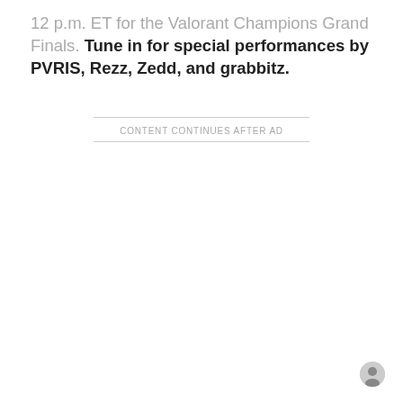12 p.m. ET for the Valorant Champions Grand Finals. Tune in for special performances by PVRIS, Rezz, Zedd, and grabbitz.
CONTENT CONTINUES AFTER AD